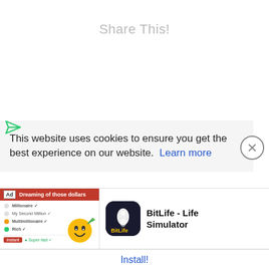Share This!
This website uses cookies to ensure you get the best experience on our website.  Learn more
[Figure (screenshot): Advertisement banner showing BitLife - Life Simulator app with emoji and app store listing UI. Ad label shown with red banner reading 'Dreaming of those dollars'. BitLife icon and name displayed. Install button at bottom.]